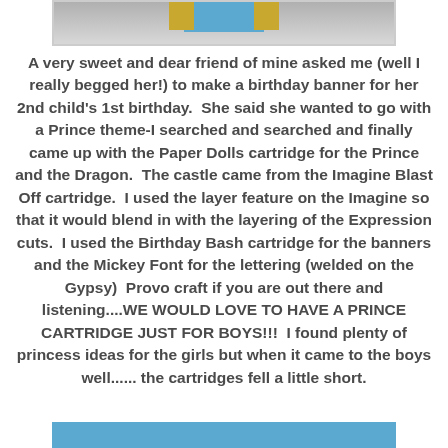[Figure (photo): Partial image visible at top of page showing a birthday banner with blue and gold/yellow elements on a gray background]
A very sweet and dear friend of mine asked me (well I really begged her!) to make a birthday banner for her 2nd child's 1st birthday.  She said she wanted to go with a Prince theme-I searched and searched and finally came up with the Paper Dolls cartridge for the Prince and the Dragon.  The castle came from the Imagine Blast Off cartridge.  I used the layer feature on the Imagine so that it would blend in with the layering of the Expression cuts.  I used the Birthday Bash cartridge for the banners and the Mickey Font for the lettering (welded on the Gypsy)  Provo craft if you are out there and listening....WE WOULD LOVE TO HAVE A PRINCE CARTRIDGE JUST FOR BOYS!!!  I found plenty of princess ideas for the girls but when it came to the boys well...... the cartridges fell a little short.
[Figure (photo): Partial image visible at bottom of page showing blue border of another image]